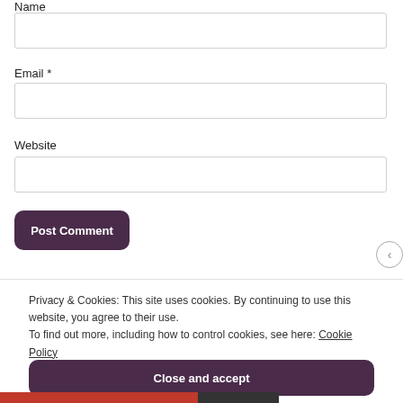Name
Email *
Website
Post Comment
Privacy & Cookies: This site uses cookies. By continuing to use this website, you agree to their use.
To find out more, including how to control cookies, see here: Cookie Policy
Close and accept